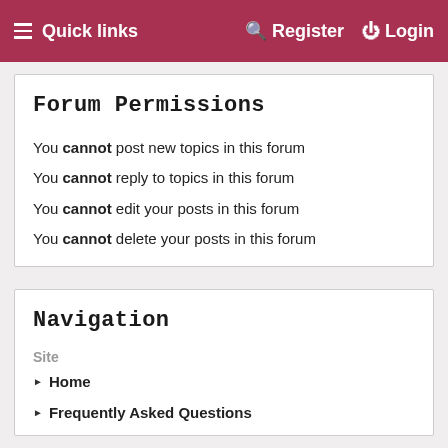Quick links   Register   Login
Forum Permissions
You cannot post new topics in this forum
You cannot reply to topics in this forum
You cannot edit your posts in this forum
You cannot delete your posts in this forum
Navigation
Site
Home
Frequently Asked Questions